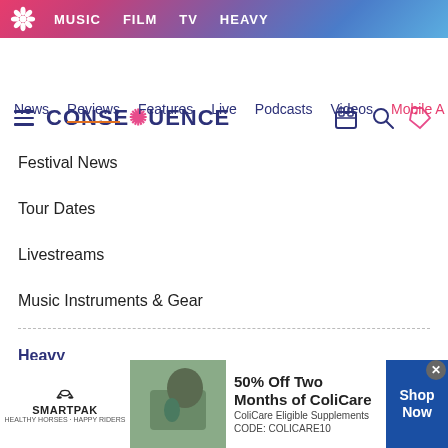[Figure (screenshot): Top navigation banner with gradient background (pink to blue) showing flower logo and nav items: MUSIC, FILM, TV, HEAVY]
CONSEQUENCE site header with hamburger menu, logo, and icons
News
Reviews
Features
Live
Podcasts
Videos
Mobile A
Festival News
Tour Dates
Livestreams
Music Instruments & Gear
Heavy
News
Interviews
[Figure (photo): SmartPak advertisement: 50% Off Two Months of ColiCare, ColiCare Eligible Supplements CODE: COLICARE10, Shop Now button, with horse and rider photo]